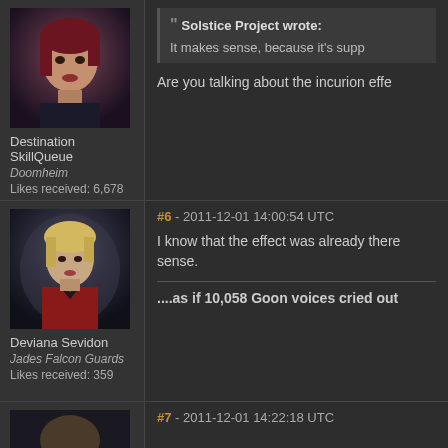[Figure (illustration): Forum avatar: female character with dark red hair, 3D rendered game portrait]
Destination SkillQueue
Doomheim
Likes received: 6,678
Solstice Project wrote:
It makes sense, because it's supp
Are you talking about the incursion effe
#6 - 2011-12-01 14:00:54 UTC
[Figure (illustration): Forum avatar: blonde female character in red jacket, 3D rendered game portrait]
Deviana Sevidon
Jades Falcon Guards
Likes received: 359
I know that the effect was already there sense.
....as if 10,058 Goon voices cried out
#7 - 2011-12-01 14:22:18 UTC
[Figure (illustration): Forum avatar: partial view of character portrait, dark tones]